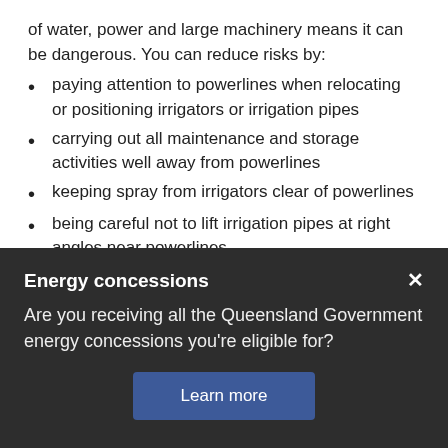of water, power and large machinery means it can be dangerous. You can reduce risks by:
paying attention to powerlines when relocating or positioning irrigators or irrigation pipes
carrying out all maintenance and storage activities well away from powerlines
keeping spray from irrigators clear of powerlines
being careful not to lift irrigation pipes at right angles near powerlines
placing ground markers near powerlines and training workers not to cross them
using a safety observer to make sure you keep a
Energy concessions
Are you receiving all the Queensland Government energy concessions you're eligible for?
Learn more